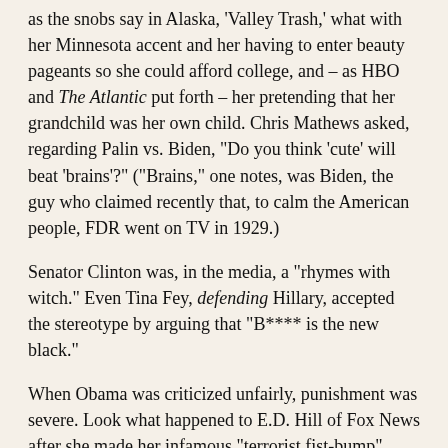as the snobs say in Alaska, 'Valley Trash,' what with her Minnesota accent and her having to enter beauty pageants so she could afford college, and – as HBO and The Atlantic put forth – her pretending that her grandchild was her own child.  Chris Mathews asked, regarding Palin vs. Biden, "Do you think 'cute' will beat 'brains'?"  ("Brains," one notes, was Biden, the guy who claimed recently that, to calm the American people, FDR went on TV in 1929.)
Senator Clinton was, in the media, a "rhymes with witch." Even Tina Fey, defending Hillary, accepted the stereotype by arguing that "B**** is the new black."
When Obama was criticized unfairly, punishment was severe.  Look what happened to E.D. Hill of Fox News after she made her infamous "terrorist fist-bump" comment about the Obamas, which she clearly did not